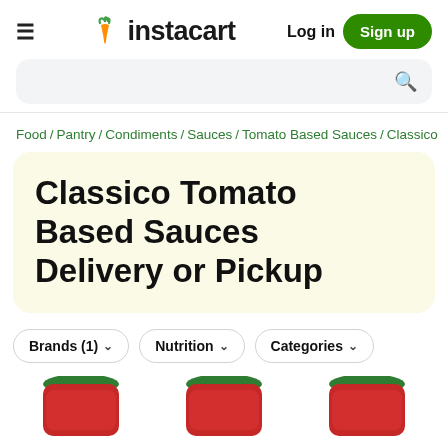≡  instacart   Log in   Sign up
Search bar
Food / Pantry / Condiments / Sauces / Tomato Based Sauces / Classico
Classico Tomato Based Sauces Delivery or Pickup
Brands (1)  Nutrition  Categories
[Figure (photo): Three Classico tomato sauce jars partially visible at the bottom of the page]